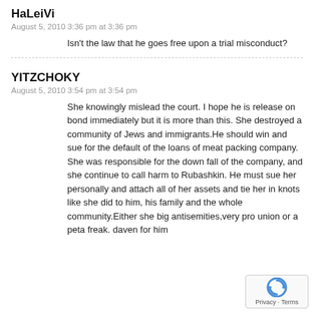HaLeiVi
August 5, 2010 3:36 pm at 3:36 pm
Isn't the law that he goes free upon a trial misconduct?
YITZCHOKY
August 5, 2010 3:54 pm at 3:54 pm
She knowingly mislead the court. I hope he is release on bond immediately but it is more than this. She destroyed a community of Jews and immigrants.He should win and sue for the default of the loans of meat packing company. She was responsible for the down fall of the company, and she continue to call harm to Rubashkin. He must sue her personally and attach all of her assets and tie her in knots like she did to him, his family and the whole community.Either she big antisemities,very pro union or a peta freak. daven for him